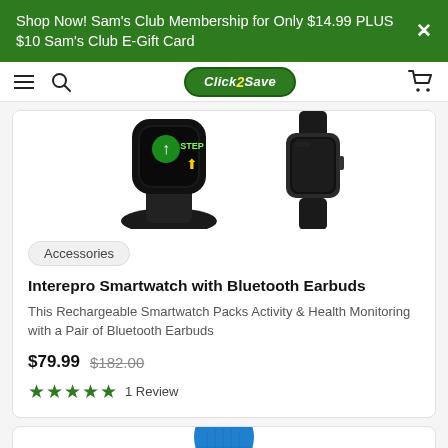Shop Now! Sam's Club Membership for Only $14.99 PLUS $10 Sam's Club E-Gift Card
[Figure (screenshot): Navigation bar with hamburger menu, search icon, Click2Save logo, and shopping cart icon]
[Figure (photo): Partial top view of Interepro Smartwatch product on charging dock and smartwatch with band, white background]
Accessories
Interepro Smartwatch with Bluetooth Earbuds
This Rechargeable Smartwatch Packs Activity & Health Monitoring with a Pair of Bluetooth Earbuds
$79.99  $182.00
★★★★★  1 Review
[Figure (photo): Partial bottom of page showing top of a blue microphone product with bookmark icon]